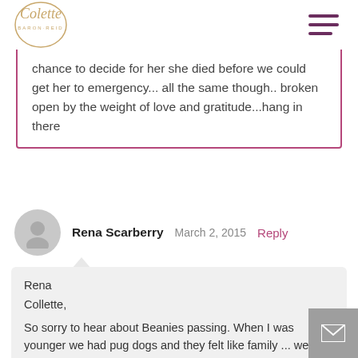[Figure (logo): Colette Baron-Reid circular logo with script text]
chance to decide for her she died before we could get her to emergency... all the same though.. broken open by the weight of love and gratitude...hang in there
Rena Scarberry   March 2, 2015   Reply
Rena
Collette,
So sorry to hear about Beanies passing. When I was younger we had pug dogs and they felt like family ... we had them for years and of course when they passed it was heart breaking. I wish you and Marc the best. Much Love, Rena